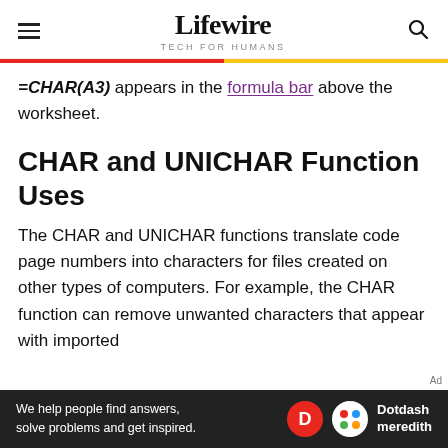Lifewire TECH FOR HUMANS
=CHAR(A3) appears in the formula bar above the worksheet.
CHAR and UNICHAR Function Uses
The CHAR and UNICHAR functions translate code page numbers into characters for files created on other types of computers. For example, the CHAR function can remove unwanted characters that appear with imported
[Figure (other): Ad banner: We help people find answers, solve problems and get inspired. Dotdash meredith logo.]